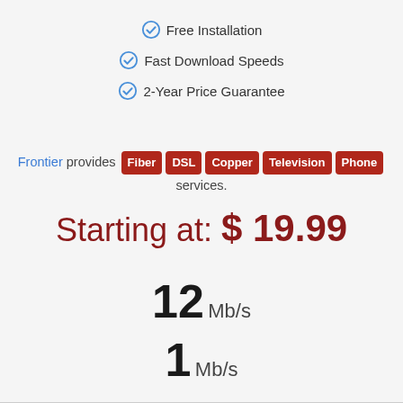Free Installation
Fast Download Speeds
2-Year Price Guarantee
Frontier provides Fiber DSL Copper Television Phone services.
Starting at: $ 19.99
12 Mb/s
1 Mb/s